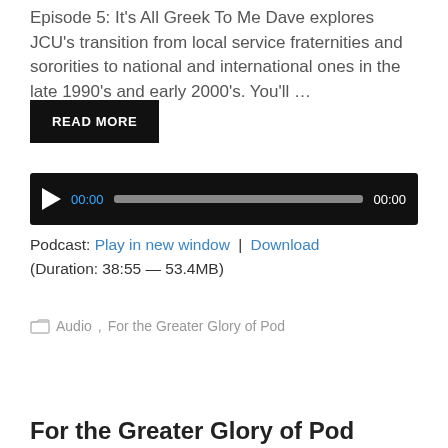Episode 5: It's All Greek To Me Dave explores JCU's transition from local service fraternities and sororities to national and international ones in the late 1990's and early 2000's. You'll …
READ MORE
[Figure (other): Audio player widget with play button, progress bar at 00:00 and duration 00:00 on dark background]
Podcast: Play in new window | Download
(Duration: 38:55 — 53.4MB)
Audio, For the Greater Glory of Pod
For the Greater Glory of Pod